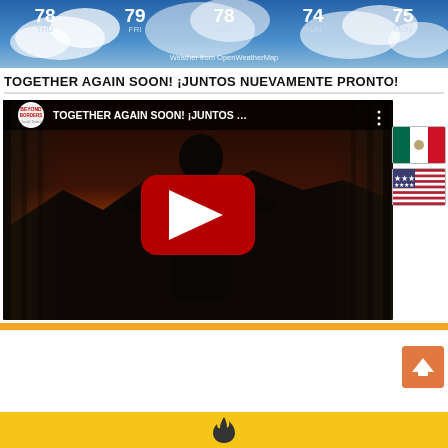[Figure (screenshot): Weather widget showing 5-day forecast: THU 78, FRI 79, SAT 78, SUN 74, MON 75 with cloud background and 'Weather from OpenWeatherMap' credit]
TOGETHER AGAIN SOON! ¡JUNTOS NUEVAMENTE PRONTO!
[Figure (screenshot): YouTube video embed thumbnail showing silhouette of person against sunset with curtains, title 'TOGETHER AGAIN SOON! ¡JUNTOS ...' with Beyond Borders logo and YouTube play button, plus Mexico and US flag icons on right side]
[Figure (screenshot): Golden/yellow footer bar with flame logo at bottom of page]